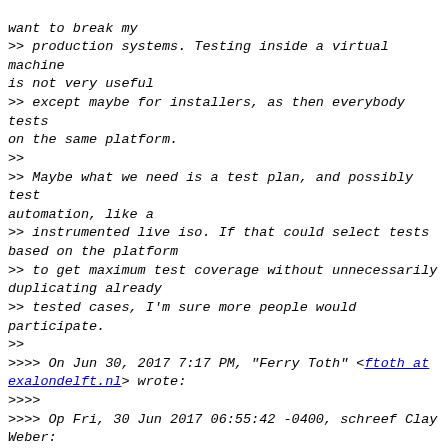want to break my
>> production systems. Testing inside a virtual machine is not very useful
>> except maybe for installers, as then everybody tests on the same platform.
>>
>> Maybe what we need is a test plan, and possibly test automation, like a
>> instrumented live iso. If that could select tests based on the platform
>> to get maximum test coverage without unnecessarily duplicating already
>> tested cases, I'm sure more people would participate.
>>
>>>> On Jun 30, 2017 7:17 PM, "Ferry Toth" <ftoth at exalondelft.nl> wrote:
>>>>
>>>> Op Fri, 30 Jun 2017 06:55:42 -0400, schreef Clay Weber:
>>>>
>>>>> The lack of testers, the lack of bug reports, and the lack of
>>>>> response here seem to indicate that i386 users in our community are a
>>>>> rather tiny group. One that is likely shrinking even more.
>>>>
>>>> My mother uses i386. But she doesn't read this list. And I doubt she